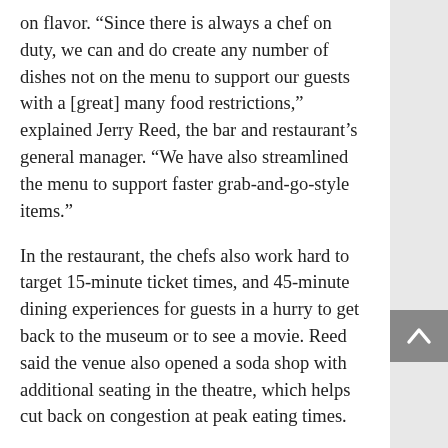on flavor. “Since there is always a chef on duty, we can and do create any number of dishes not on the menu to support our guests with a [great] many food restrictions,” explained Jerry Reed, the bar and restaurant’s general manager. “We have also streamlined the menu to support faster grab-and-go-style items.”
In the restaurant, the chefs also work hard to target 15-minute ticket times, and 45-minute dining experiences for guests in a hurry to get back to the museum or to see a movie. Reed said the venue also opened a soda shop with additional seating in the theatre, which helps cut back on congestion at peak eating times.
Also in New Orleans, the ultra-modern Café NOMA inside the New Orleans Museum of Art, is as fresh as the decor. Chris Montero, the executive chef, offers a very popular daily bruschetta and flatbread that gets